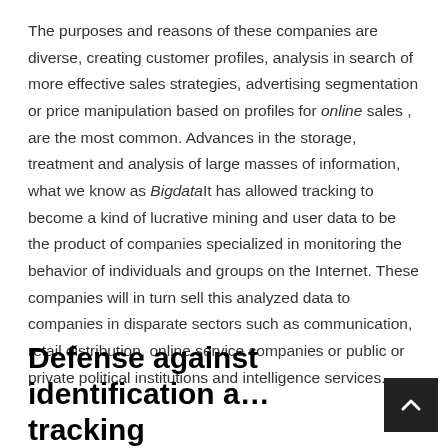The purposes and reasons of these companies are diverse, creating customer profiles, analysis in search of more effective sales strategies, advertising segmentation or price manipulation based on profiles for online sales , are the most common. Advances in the storage, treatment and analysis of large masses of information, what we know as Bigdata It has allowed tracking to become a kind of lucrative mining and user data to be the product of companies specialized in monitoring the behavior of individuals and groups on the Internet. These companies will in turn sell this analyzed data to companies in disparate sectors such as communication, retail distribution, online service companies or public or private political institutions and intelligence services.
Defense against identification and tracking